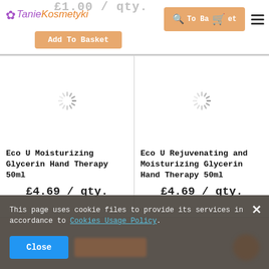TanieKosmetyki — Add To Basket
[Figure (screenshot): Loading spinner (radial lines) for left product image placeholder]
[Figure (screenshot): Loading spinner (radial lines) for right product image placeholder]
Eco U Moisturizing Glycerin Hand Therapy 50ml
Eco U Rejuvenating and Moisturizing Glycerin Hand Therapy 50ml
£4.69 / qty.
£4.69 / qty.
This page uses cookie files to provide its services in accordance to Cookies Usage Policy.
Close